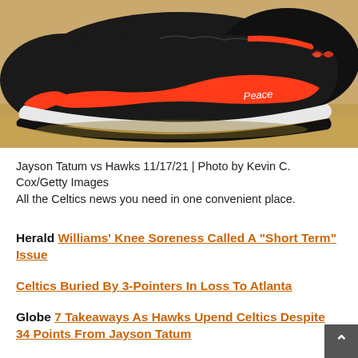[Figure (photo): Close-up photo of a black and red Nike basketball sneaker (Jayson Tatum's shoe) on a hardwood court floor. The shoe has a bold red swoosh pattern and 'Peace' written on the heel area, with an infinity symbol on the side.]
Jayson Tatum vs Hawks 11/17/21 | Photo by Kevin C. Cox/Getty Images
All the Celtics news you need in one convenient place.
Herald Williams' Knee Soreness Called A “Short Term” Issue
Celtics Buried By 3-Pointers In Loss To Atlanta
Globe 7 Takeaways As Hawks Upend Celtics Despite 34 Points From Jayson Tatum